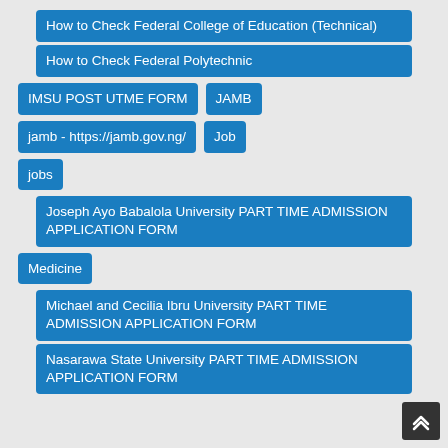How to Check Federal College of Education (Technical)
How to Check Federal Polytechnic
IMSU POST UTME FORM
JAMB
jamb - https://jamb.gov.ng/
Job
jobs
Joseph Ayo Babalola University PART TIME ADMISSION APPLICATION FORM
Medicine
Michael and Cecilia Ibru University PART TIME ADMISSION APPLICATION FORM
Nasarawa State University PART TIME ADMISSION APPLICATION FORM